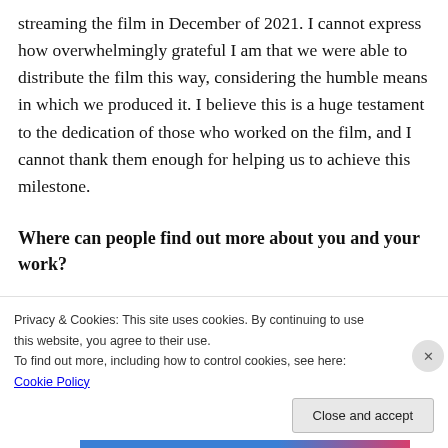streaming the film in December of 2021. I cannot express how overwhelmingly grateful I am that we were able to distribute the film this way, considering the humble means in which we produced it. I believe this is a huge testament to the dedication of those who worked on the film, and I cannot thank them enough for helping us to achieve this milestone.
Where can people find out more about you and your work?
[Figure (screenshot): Partial screenshot of a dark-themed website header with a pink/red banner element and a white circular avatar]
Privacy & Cookies: This site uses cookies. By continuing to use this website, you agree to their use.
To find out more, including how to control cookies, see here: Cookie Policy